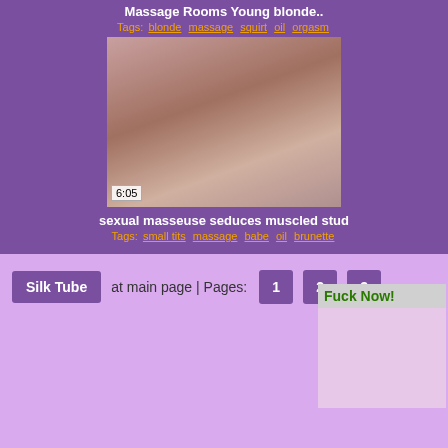Massage Rooms Young blonde..
Tags: blonde massage squirt oil orgasm
[Figure (photo): Video thumbnail showing partial body, duration 6:05]
sexual masseuse seduces muscled stud
Tags: small tits massage babe oil brunette
Silk Tube at main page | Pages: 1 2 3
Fuck Now!